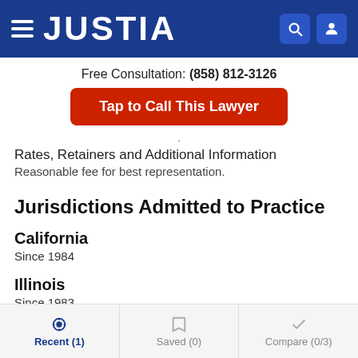JUSTIA
Free Consultation: (858) 812-3126
Tap to Call This Lawyer
.
Rates, Retainers and Additional Information
Reasonable fee for best representation.
Jurisdictions Admitted to Practice
California
Since 1984
Illinois
Since 1983
Recent (1)  Saved (0)  Compare (0/3)